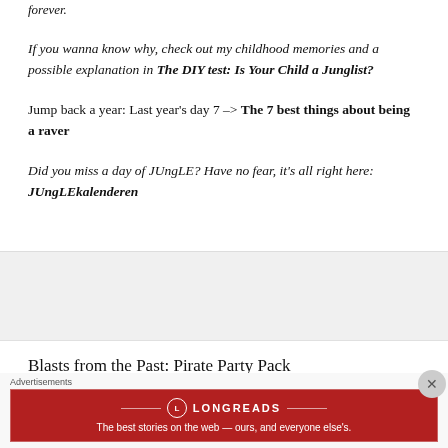forever.
If you wanna know why, check out my childhood memories and a possible explanation in The DIY test: Is Your Child a Junglist?
Jump back a year: Last year's day 7 -> The 7 best things about being a raver
Did you miss a day of JUngLE? Have no fear, it's all right here: JUngLEkalenderen
Blasts from the Past: Pirate Party Pack
Advertisements
[Figure (infographic): Longreads advertisement banner: red background with Longreads logo and text 'The best stories on the web — ours, and everyone else's.']